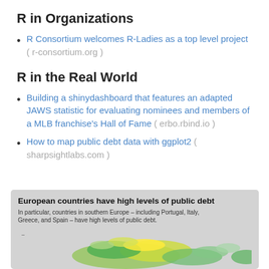R in Organizations
R Consortium welcomes R-Ladies as a top level project ( r-consortium.org )
R in the Real World
Building a shinydashboard that features an adapted JAWS statistic for evaluating nominees and members of a MLB franchise's Hall of Fame ( erbo.rbind.io )
How to map public debt data with ggplot2 ( sharpsightlabs.com )
[Figure (map): Choropleth map of European countries showing high levels of public debt, with title 'European countries have high levels of public debt' and subtitle noting southern European countries including Portugal, Italy, Greece, and Spain.]